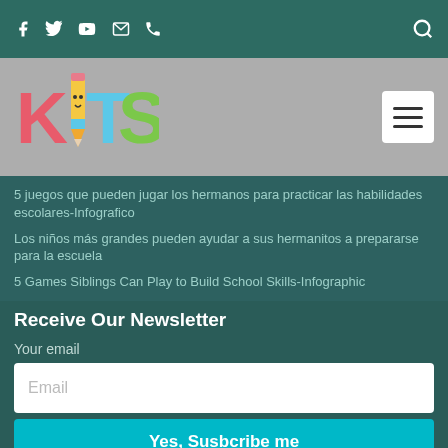Social icons: Facebook, Twitter, YouTube, Email, Phone | Search icon
[Figure (logo): KITS logo with colorful letters K, I (pencil), T, S in pink, yellow/blue, light blue, and green]
5 juegos que pueden jugar los hermanos para practicar las habilidades escolares-Infografico
Los niños más grandes pueden ayudar a sus hermanitos a prepararse para la escuela
5 Games Siblings Can Play to Build School Skills-Infographic
Receive Our Newsletter
Your email
Email (input placeholder)
Yes, Susbcribe me (button)